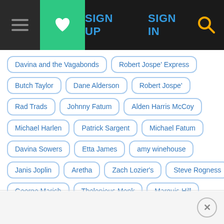Navigation bar with menu, favorites, SIGN UP, SIGN IN, and search
Davina and the Vagabonds
Robert Jospe' Express
Butch Taylor
Dane Alderson
Robert Jospe'
Rad Trads
Johnny Fatum
Alden Harris McCoy
Michael Harlen
Patrick Sargent
Michael Fatum
Davina Sowers
Etta James
amy winehouse
Janis Joplin
Aretha
Zach Lozier's
Steve Rogness
George Marich
Thelonious Monk
Marquis Hill
In Pictures